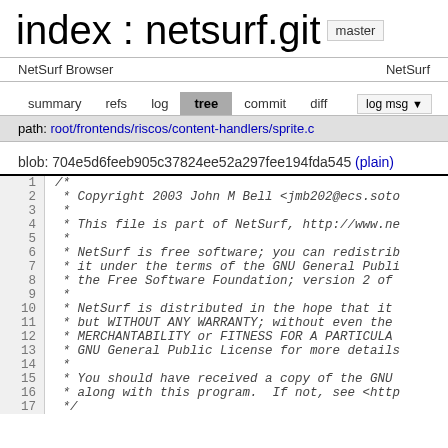index : netsurf.git
NetSurf Browser   NetSurf
summary  refs  log  tree  commit  diff  log msg
path: root/frontends/riscos/content-handlers/sprite.c
blob: 704e5d6feeb905c37824ee52a297fee194fda545 (plain)
/* * Copyright 2003 John M Bell <jmb202@ecs.soto * * This file is part of NetSurf, http://www.ne * * NetSurf is free software; you can redistrib * it under the terms of the GNU General Publi * the Free Software Foundation; version 2 of * * NetSurf is distributed in the hope that it * but WITHOUT ANY WARRANTY; without even the * MERCHANTABILITY or FITNESS FOR A PARTICULA * GNU General Public License for more details * * You should have received a copy of the GNU * along with this program. If not, see <http */